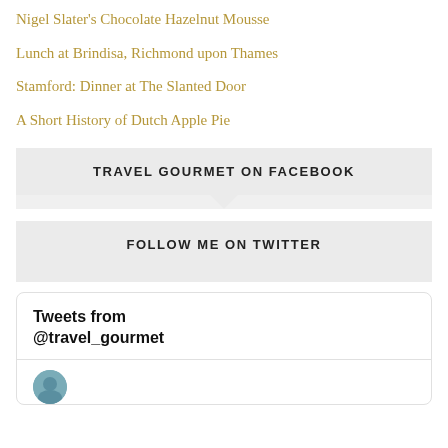Nigel Slater's Chocolate Hazelnut Mousse
Lunch at Brindisa, Richmond upon Thames
Stamford: Dinner at The Slanted Door
A Short History of Dutch Apple Pie
TRAVEL GOURMET ON FACEBOOK
FOLLOW ME ON TWITTER
Tweets from @travel_gourmet